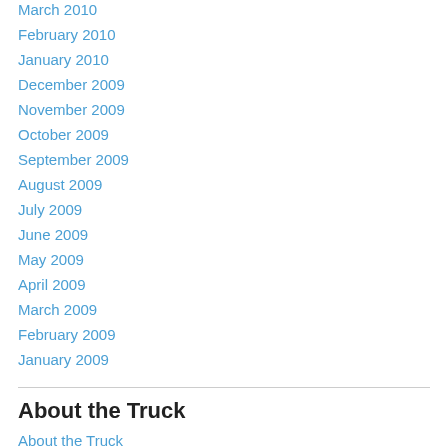March 2010
February 2010
January 2010
December 2009
November 2009
October 2009
September 2009
August 2009
July 2009
June 2009
May 2009
April 2009
March 2009
February 2009
January 2009
About the Truck
About the Truck